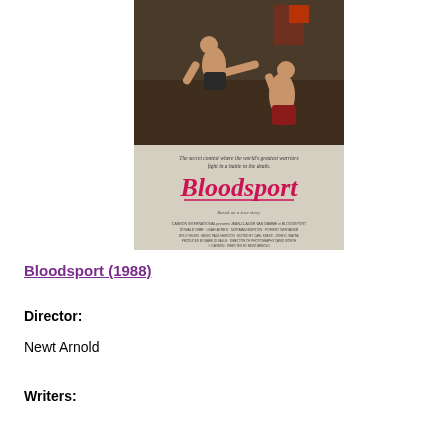[Figure (photo): Movie poster for Bloodsport (1988) showing two martial artists fighting, one delivering a flying kick, with Chinese characters and crowd in the background. The poster shows the title 'Bloodsport' in red script lettering with tagline 'The secret contest where the world's greatest warriors fight in a battle to the death.' and 'Based on a true story.' Credits at the bottom include Jean-Claude Van Damme.]
Bloodsport (1988)
Director:
Newt Arnold
Writers: